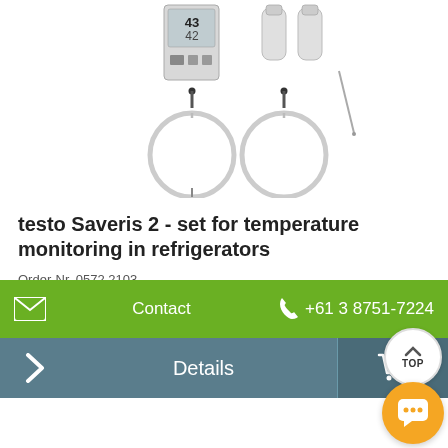[Figure (photo): Product photo showing testo Saveris 2 temperature monitoring kit: a digital display logger unit, two small glass sample vials, and two long coiled flexible probe cables with needle tips.]
testo Saveris 2 - set for temperature monitoring in refrigerators
Order-Nr. 0572 2103
$620.00
Contact
+61 3 8751-7224
Details